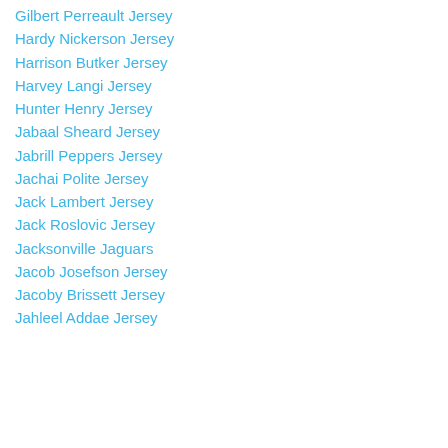Gilbert Perreault Jersey
Hardy Nickerson Jersey
Harrison Butker Jersey
Harvey Langi Jersey
Hunter Henry Jersey
Jabaal Sheard Jersey
Jabrill Peppers Jersey
Jachai Polite Jersey
Jack Lambert Jersey
Jack Roslovic Jersey
Jacksonville Jaguars
Jacob Josefson Jersey
Jacoby Brissett Jersey
Jahleel Addae Jersey